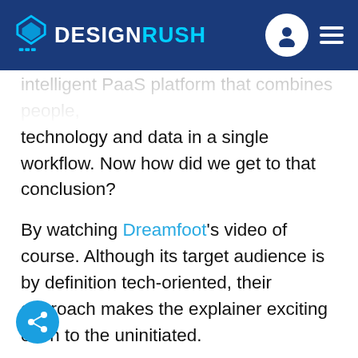DESIGNRUSH
intelligent PaaS platform that combines people, technology and data in a single workflow. Now how did we get to that conclusion?
By watching Dreamfoot's video of course. Although its target audience is by definition tech-oriented, their approach makes the explainer exciting even to the uninitiated.
It's basically the embodiment of the "product". Just like DhiWise itself, the video takes monotony & repetition out of the development equation and optimizes the (work)flow